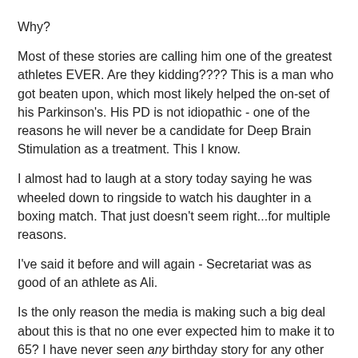Why?
Most of these stories are calling him one of the greatest athletes EVER. Are they kidding???? This is a man who got beaten upon, which most likely helped the on-set of his Parkinson's. His PD is not idiopathic - one of the reasons he will never be a candidate for Deep Brain Stimulation as a treatment. This I know.
I almost had to laugh at a story today saying he was wheeled down to ringside to watch his daughter in a boxing match. That just doesn't seem right...for multiple reasons.
I've said it before and will again - Secretariat was as good of an athlete as Ali.
Is the only reason the media is making such a big deal about this is that no one ever expected him to make it to 65? I have never seen any birthday story for any other athlete in the media - let alone to this magnitude.